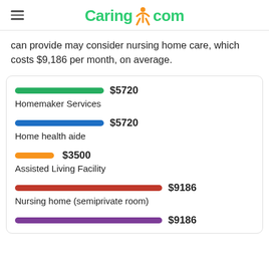Caring.com
can provide may consider nursing home care, which costs $9,186 per month, on average.
[Figure (bar-chart): Care cost comparison]